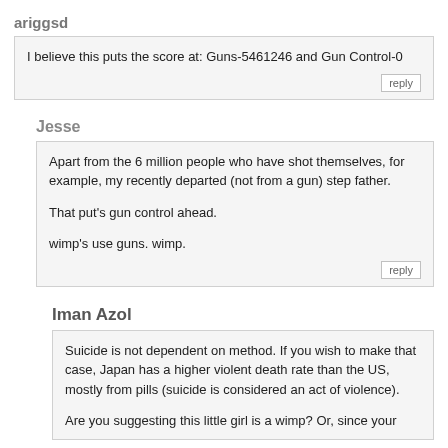ariggsd
I believe this puts the score at: Guns-5461246 and Gun Control-0
Jesse
Apart from the 6 million people who have shot themselves, for example, my recently departed (not from a gun) step father.

That put's gun control ahead.

wimp's use guns. wimp.
Iman Azol
Suicide is not dependent on method. If you wish to make that case, Japan has a higher violent death rate than the US, mostly from pills (suicide is considered an act of violence).

Are you suggesting this little girl is a wimp? Or, since your